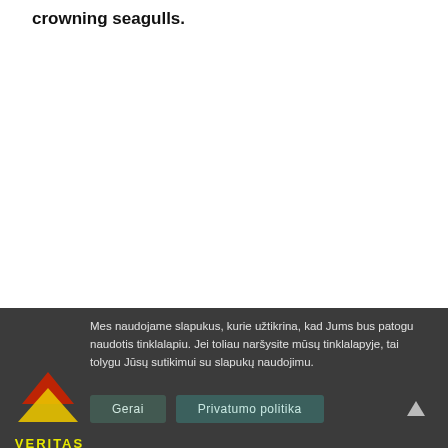crowning seagulls.
[Figure (logo): Veritas NT logo with red and yellow triangles stacked, company name VERITAS in yellow lettering]
Mes naudojame slapukus, kurie užtikrina, kad Jums bus patogu naudotis tinklalapiu. Jei toliau naršysite mūsų tinklalapyje, tai tolygu Jūsų sutikimui su slapukų naudojimu.
Gerai
Privatumo politika